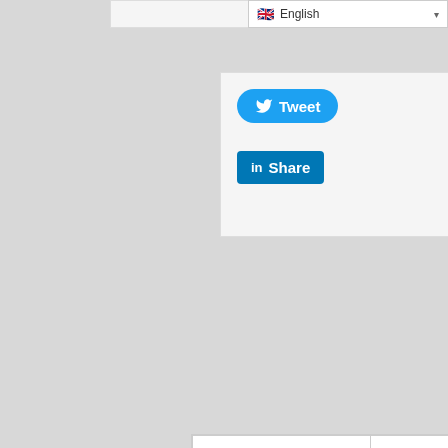[Figure (screenshot): Language selector dropdown showing English with UK flag]
[Figure (screenshot): Twitter Tweet button (blue rounded) and LinkedIn Share button (blue square)]
Previous: Google Research Scholar Program 2022 for Early-career Professors (up to $60,000)
Next: Henry Nxumalo Foundation/AIJC Grants for African Journalists in Health Reporting 2021